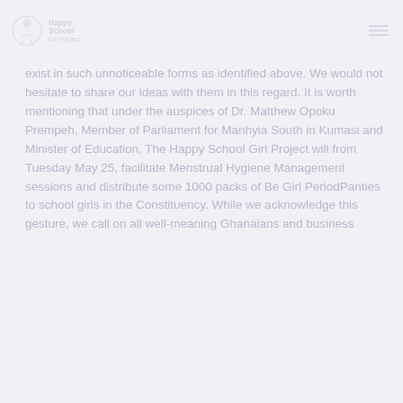Happy School Girl Project
exist in such unnoticeable forms as identified above. We would not hesitate to share our ideas with them in this regard. It is worth mentioning that under the auspices of Dr. Matthew Opoku Prempeh, Member of Parliament for Manhyia South in Kumasi and Minister of Education, The Happy School Girl Project will from Tuesday May 25, facilitate Menstrual Hygiene Management sessions and distribute some 1000 packs of Be Girl PeriodPanties to school girls in the Constituency. While we acknowledge this gesture, we call on all well-meaning Ghanaians and business